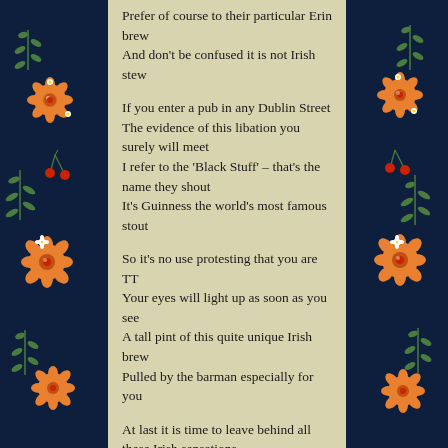[Figure (illustration): Dark navy background with decorative floral border on left and right sides featuring orange flowers, green fern-like leaves, red berries, and small white blossoms on dark blue background.]
Prefer of course to their particular Erin brew
And don't be confused it is not Irish stew

If you enter a pub in any Dublin Street
The evidence of this libation you surely will meet
I refer to the 'Black Stuff' – that's the name they shout
It's Guinness the world's most famous stout

So it's no use protesting that you are TT
Your eyes will light up as soon as you see
A tall pint of this quite unique Irish brew
Pulled by the barman especially for you

At last it is time to leave behind all these Irish sensations
And head back to the port for our home destination